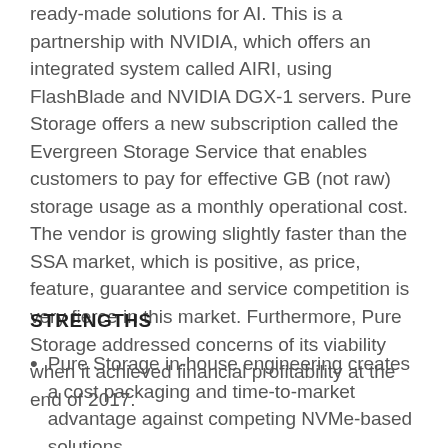ready-made solutions for AI. This is a partnership with NVIDIA, which offers an integrated system called AIRI, using FlashBlade and NVIDIA DGX-1 servers. Pure Storage offers a new subscription called the Evergreen Storage Service that enables customers to pay for effective GB (not raw) storage usage as a monthly operational cost. The vendor is growing slightly faster than the SSA market, which is positive, as price, feature, guarantee and service competition is very fierce in this market. Furthermore, Pure Storage addressed concerns of its viability when it achieved financial profitability at the end of 2017.
STRENGTHS
Pure Storage in-house engineering creates a cost packaging and time-to-market advantage against competing NVMe-based solutions.